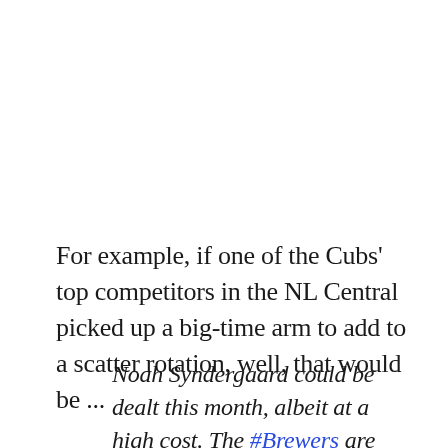For example, if one of the Cubs' top competitors in the NL Central picked up a big-time arm to add to a scatter rotation, well, that would be ...
Noah Syndergaard could be dealt this month, albeit at a high cost. The #Brewers are among the